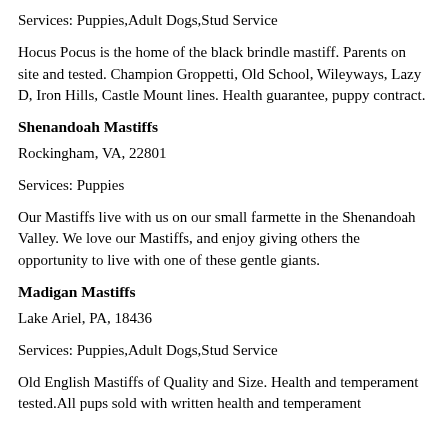Services: Puppies,Adult Dogs,Stud Service
Hocus Pocus is the home of the black brindle mastiff. Parents on site and tested. Champion Groppetti, Old School, Wileyways, Lazy D, Iron Hills, Castle Mount lines. Health guarantee, puppy contract.
Shenandoah Mastiffs
Rockingham, VA, 22801
Services: Puppies
Our Mastiffs live with us on our small farmette in the Shenandoah Valley. We love our Mastiffs, and enjoy giving others the opportunity to live with one of these gentle giants.
Madigan Mastiffs
Lake Ariel, PA, 18436
Services: Puppies,Adult Dogs,Stud Service
Old English Mastiffs of Quality and Size. Health and temperament tested.All pups sold with written health and temperament